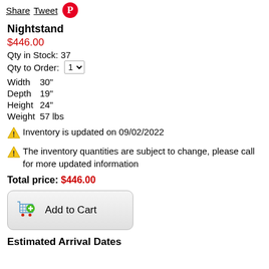Share  Tweet  [Pinterest icon]
Nightstand
$446.00
Qty in Stock: 37
Qty to Order: 1
Width  30"
Depth  19"
Height 24"
Weight 57 lbs
Inventory is updated on 09/02/2022
The inventory quantities are subject to change, please call for more updated information
Total price: $446.00
[Figure (other): Add to Cart button with shopping cart icon]
Estimated Arrival Dates